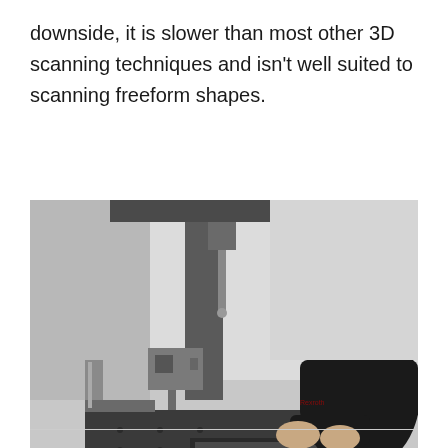downside, it is slower than most other 3D scanning techniques and isn't well suited to scanning freeform shapes.
[Figure (photo): A man wearing glasses and a dark polo shirt leaning over a CMM (coordinate measuring machine) workstation, inspecting the probe setup on a granite surface plate in a laboratory or metrology environment.]